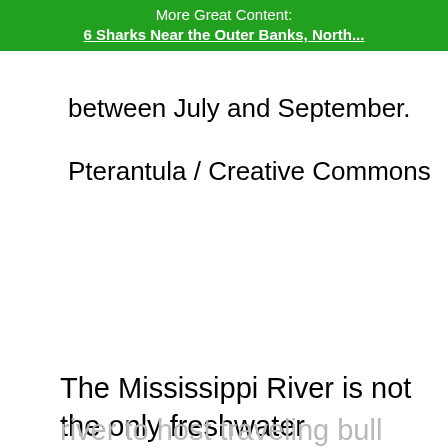More Great Content: 6 Sharks Near the Outer Banks, North...
between July and September.
Pterantula / Creative Commons
The Mississippi River is not the only freshwater
river to host traveling bull sharks in the United